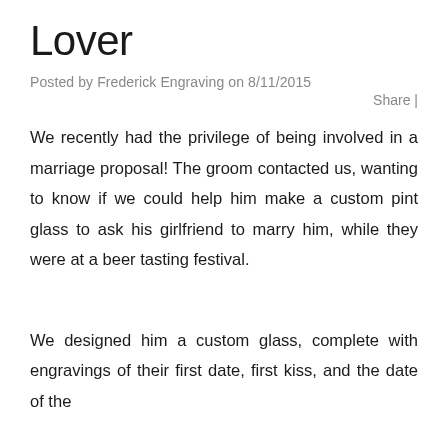Lover
Posted by Frederick Engraving on 8/11/2015
Share |
We recently had the privilege of being involved in a marriage proposal! The groom contacted us, wanting to know if we could help him make a custom pint glass to ask his girlfriend to marry him, while they were at a beer tasting festival.
We designed him a custom glass, complete with engravings of their first date, first kiss, and the date of the